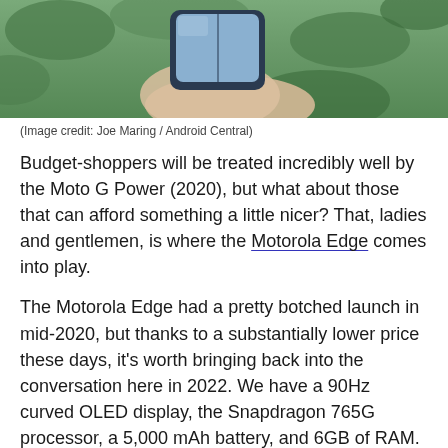[Figure (photo): Hand holding a Motorola smartphone against a green leafy background, viewed from above showing the screen]
(Image credit: Joe Maring / Android Central)
Budget-shoppers will be treated incredibly well by the Moto G Power (2020), but what about those that can afford something a little nicer? That, ladies and gentlemen, is where the Motorola Edge comes into play.
The Motorola Edge had a pretty botched launch in mid-2020, but thanks to a substantially lower price these days, it's worth bringing back into the conversation here in 2022. We have a 90Hz curved OLED display, the Snapdragon 765G processor, a 5,000 mAh battery, and 6GB of RAM. I only had a few weeks to use the Motorola Edge, but all this time later, I still find myself missing it every now and then. The design is stunning, it's every bit as fast as you